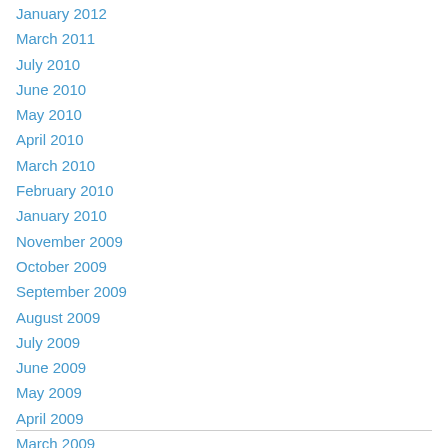January 2012
March 2011
July 2010
June 2010
May 2010
April 2010
March 2010
February 2010
January 2010
November 2009
October 2009
September 2009
August 2009
July 2009
June 2009
May 2009
April 2009
March 2009